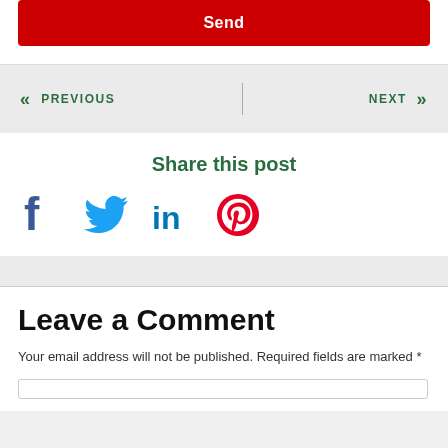Send
« PREVIOUS
NEXT »
Share this post
[Figure (illustration): Social media share icons: Facebook (blue f), Twitter (blue bird), LinkedIn (blue 'in'), Pinterest (red circle with P)]
Leave a Comment
Your email address will not be published. Required fields are marked *